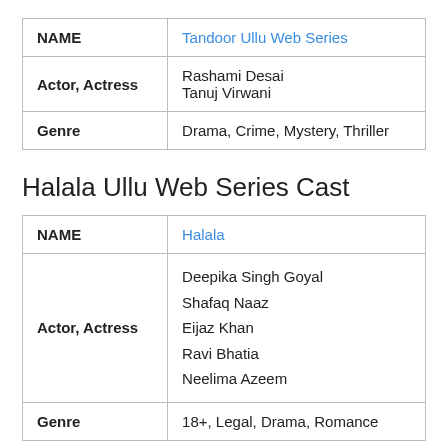| NAME | Tandoor Ullu Web Series |
| --- | --- |
| Actor, Actress | Rashami Desai
Tanuj Virwani |
| Genre | Drama, Crime, Mystery, Thriller |
Halala Ullu Web Series Cast
| NAME | Halala |
| --- | --- |
| Actor, Actress | Deepika Singh Goyal
Shafaq Naaz
Eijaz Khan
Ravi Bhatia
Neelima Azeem |
| Genre | 18+, Legal, Drama, Romance |